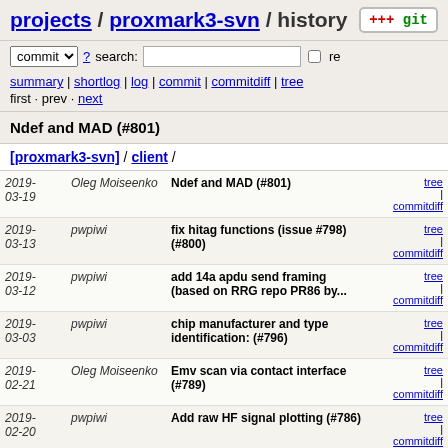projects / proxmark3-svn / history
commit ? search: re
summary | shortlog | log | commit | commitdiff | tree
first · prev · next
Ndef and MAD (#801)
[proxmark3-svn] / client /
| Date | Author | Message | Links |
| --- | --- | --- | --- |
| 2019-03-19 | Oleg Moiseenko | Ndef and MAD (#801) | tree | commitdiff |
| 2019-03-13 | pwpiwi | fix hitag functions (issue #798) (#800) | tree | commitdiff |
| 2019-03-12 | pwpiwi | add 14a apdu send framing (based on RRG repo PR86 by... | tree | commitdiff |
| 2019-03-03 | pwpiwi | chip manufacturer and type identification: (#796) | tree | commitdiff |
| 2019-02-21 | Oleg Moiseenko | Emv scan via contact interface (#789) | tree | commitdiff |
| 2019-02-20 | pwpiwi | Add raw HF signal plotting (#786) | tree | commitdiff |
| 2019-02-20 | Oleg Moiseenko | fix rare bug in tlv.c (#788) | tree | commitdiff |
| 2019-02-18 | pwpiwi | add tracing functions (#784) | tree | commitdiff |